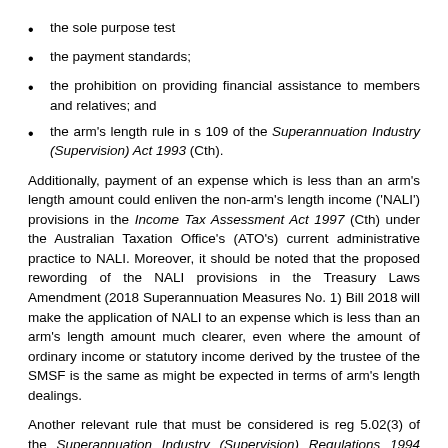the sole purpose test
the payment standards;
the prohibition on providing financial assistance to members and relatives; and
the arm's length rule in s 109 of the Superannuation Industry (Supervision) Act 1993 (Cth).
Additionally, payment of an expense which is less than an arm's length amount could enliven the non-arm's length income ('NALI') provisions in the Income Tax Assessment Act 1997 (Cth) under the Australian Taxation Office's (ATO's) current administrative practice to NALI. Moreover, it should be noted that the proposed rewording of the NALI provisions in the Treasury Laws Amendment (2018 Superannuation Measures No. 1) Bill 2018 will make the application of NALI to an expense which is less than an arm's length amount much clearer, even where the amount of ordinary income or statutory income derived by the trustee of the SMSF is the same as might be expected in terms of arm's length dealings.
Another relevant rule that must be considered is reg 5.02(3) of the Superannuation Industry (Supervision) Regulations 1994 (Cth). Regulation 5.02(3) requires the trustee of a regulated superannuation